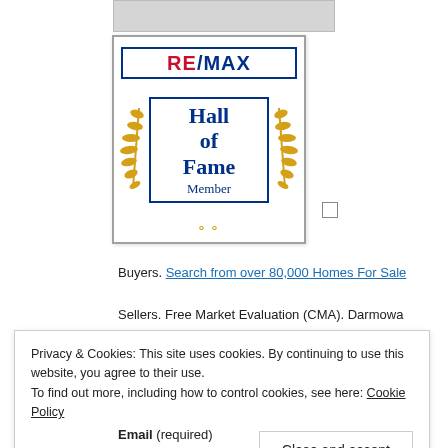[Figure (logo): RE/MAX Hall of Fame Member badge with golden laurel branches on either side and blue border]
Buyers. Search from over 80,000 Homes For Sale
Sellers. Free Market Evaluation (CMA). Darmowa Wycena Nieruchomsci:
Privacy & Cookies: This site uses cookies. By continuing to use this website, you agree to their use.
To find out more, including how to control cookies, see here: Cookie Policy
Close and accept
Email (required)